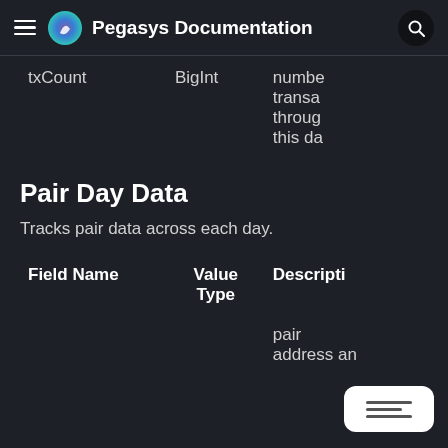Pegasys Documentation
| Field Name | Value Type | Description |
| --- | --- | --- |
| txCount | BigInt | numbe transa throug this da |
Pair Day Data
Tracks pair data across each day.
| Field Name | Value Type | Descripti |
| --- | --- | --- |
|  |  | pair address an |